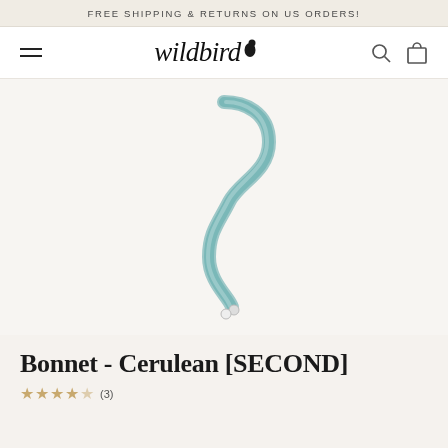FREE SHIPPING & RETURNS ON US ORDERS!
[Figure (logo): Wildbird brand logo with stylized bird silhouette and italic serif text 'wildbird', accompanied by hamburger menu, search and cart icons in navigation bar]
[Figure (photo): Product photo of a Bonnet in Cerulean color (marked as SECOND quality) — shows a curved, S-shaped baby bonnet strap/band in teal/cerulean fabric against a light background]
Bonnet - Cerulean [SECOND]
★★★★★ (3)